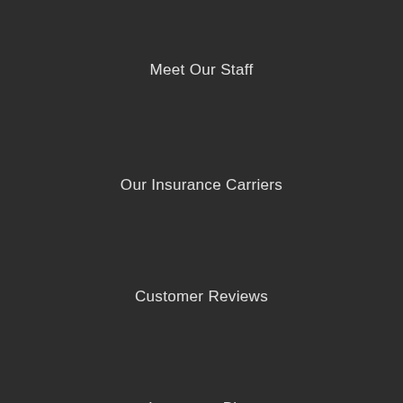Meet Our Staff
Our Insurance Carriers
Customer Reviews
Insurance Blog
En Español
INSURANCE
Auto, Home, and Personal Insurance